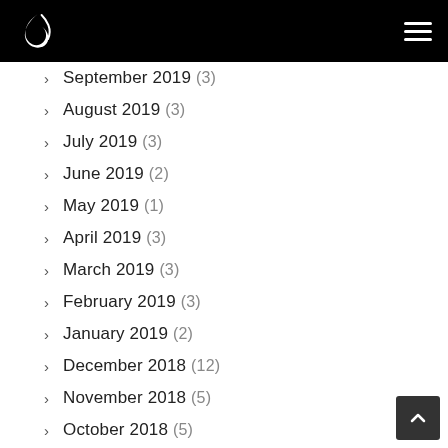Navigation header with logo and hamburger menu
September 2019 (3)
August 2019 (3)
July 2019 (3)
June 2019 (2)
May 2019 (1)
April 2019 (3)
March 2019 (3)
February 2019 (3)
January 2019 (2)
December 2018 (12)
November 2018 (5)
October 2018 (5)
September 2018 (4)